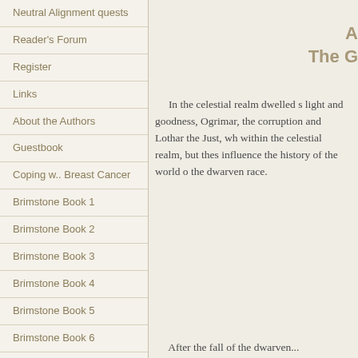Neutral Alignment quests
Reader's Forum
Register
Links
About the Authors
Guestbook
Coping w.. Breast Cancer
Brimstone Book 1
Brimstone Book 2
Brimstone Book 3
Brimstone Book 4
Brimstone Book 5
Brimstone Book 6
A
The G
In the celestial realm dwelled s light and goodness, Ogrimar, the corruption and Lothar the Just, wh within the celestial realm, but thes influence the history of the world o the dwarven race.
After the fall of the dwarven...